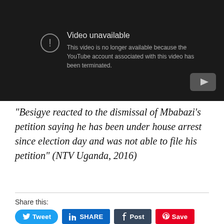[Figure (screenshot): YouTube video unavailable error screen with dark background showing 'Video unavailable' message stating the YouTube account has been terminated, with YouTube logo in bottom right corner]
“Besigye reacted to the dismissal of Mbabazi’s petition saying he has been under house arrest since election day and was not able to file his petition” (NTV Uganda, 2016)
Share this:
Tweet
SHARE
Post
Save